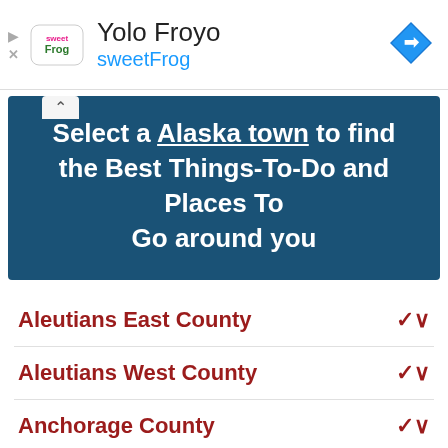[Figure (logo): sweetFrog logo and Yolo Froyo ad banner with navigation diamond icon]
Select a Alaska town to find the Best Things-To-Do and Places To Go around you
Aleutians East County
Aleutians West County
Anchorage County
Bethel County
Bristol Bay County